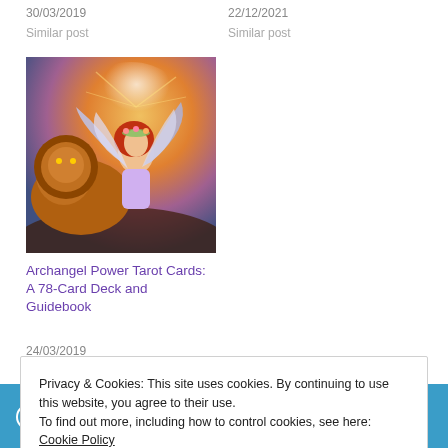30/03/2019
22/12/2021
Similar post
Similar post
[Figure (illustration): Tarot card image showing a woman with angel wings and a lion, with 'TAROT CARDS' text overlay, fantasy/mystical art style]
Archangel Power Tarot Cards: A 78-Card Deck and Guidebook
24/03/2019
Similar post
We're still open and shipping same day if ordered before 2pm. Helping deliver smiles to brighten up these
Privacy & Cookies: This site uses cookies. By continuing to use this website, you agree to their use.
To find out more, including how to control cookies, see here: Cookie Policy
Close and accept